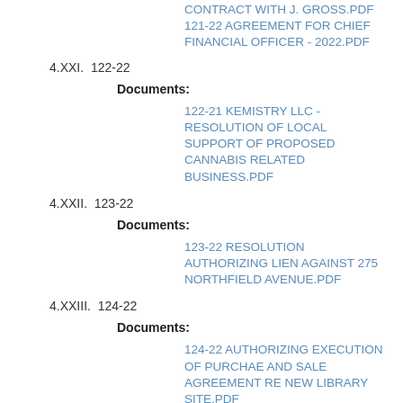CONTRACT WITH J. GROSS.PDF
121-22 AGREEMENT FOR CHIEF FINANCIAL OFFICER - 2022.PDF
4.XXI.  122-22
Documents:
122-21 KEMISTRY LLC - RESOLUTION OF LOCAL SUPPORT OF PROPOSED CANNABIS RELATED BUSINESS.PDF
4.XXII.  123-22
Documents:
123-22 RESOLUTION AUTHORIZING LIEN AGAINST 275 NORTHFIELD AVENUE.PDF
4.XXIII.  124-22
Documents:
124-22 AUTHORIZING EXECUTION OF PURCHAE AND SALE AGREEMENT RE NEW LIBRARY SITE.PDF